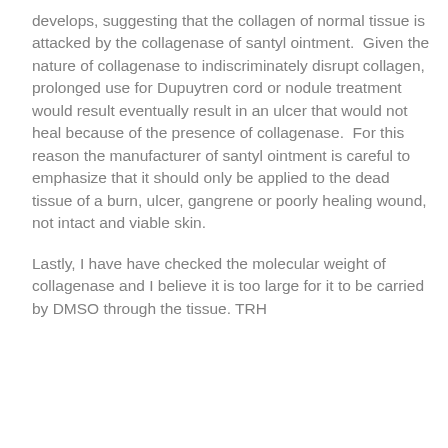develops, suggesting that the collagen of normal tissue is attacked by the collagenase of santyl ointment.  Given the nature of collagenase to indiscriminately disrupt collagen, prolonged use for Dupuytren cord or nodule treatment would result eventually result in an ulcer that would not heal because of the presence of collagenase.  For this reason the manufacturer of santyl ointment is careful to emphasize that it should only be applied to the dead tissue of a burn, ulcer, gangrene or poorly healing wound, not intact and viable skin.
Lastly, I have have checked the molecular weight of collagenase and I believe it is too large for it to be carried by DMSO through the tissue. TRH